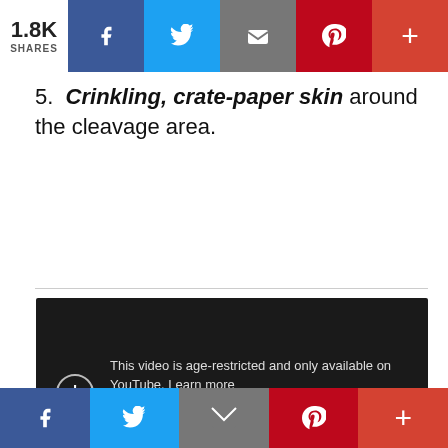1.8K SHARES
5. Crinkling, crate-paper skin around the cleavage area.
[Figure (screenshot): YouTube age-restricted video embed showing dark background with warning icon and text: 'This video is age-restricted and only available on YouTube. Learn more. Watch on YouTube']
Social share bar bottom